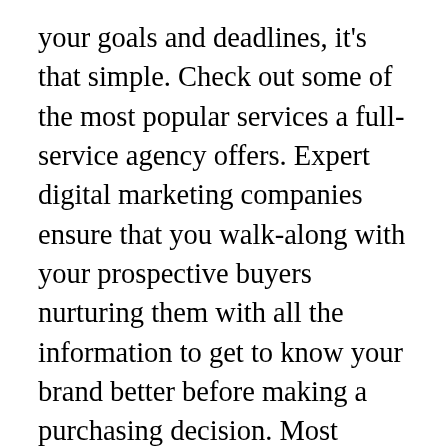your goals and deadlines, it's that simple. Check out some of the most popular services a full-service agency offers. Expert digital marketing companies ensure that you walk-along with your prospective buyers nurturing them with all the information to get to know your brand better before making a purchasing decision. Most businesses will pay between $90 to $240 for hourly services or $3,800 to $9,000/month per project. Valynt Digital is responsible for our revived social media presence. Digital Marketing Digital marketing is a general term used to represent promotional activities through electronic media. Our content marketing services put your brand in front of prospects, then convinces them to